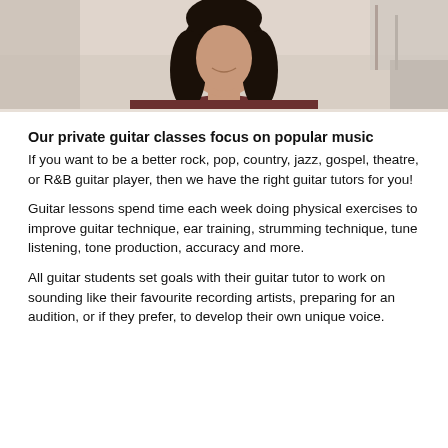[Figure (photo): Close-up photo of a woman with long dark hair, wearing a dark red/maroon top, smiling, with a blurred indoor background.]
Our private guitar classes focus on popular music
If you want to be a better rock, pop, country, jazz, gospel, theatre, or R&B guitar player, then we have the right guitar tutors for you!
Guitar lessons spend time each week doing physical exercises to improve guitar technique, ear training, strumming technique, tune listening, tone production, accuracy and more.
All guitar students set goals with their guitar tutor to work on sounding like their favourite recording artists, preparing for an audition, or if they prefer, to develop their own unique voice.